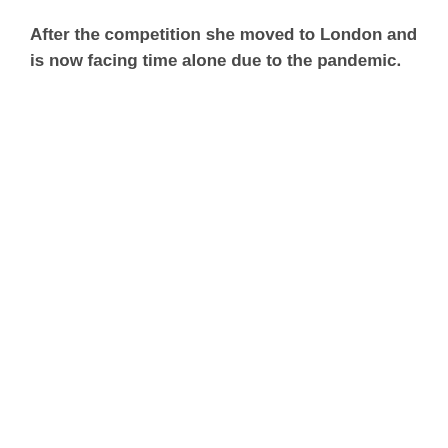After the competition she moved to London and is now facing time alone due to the pandemic.